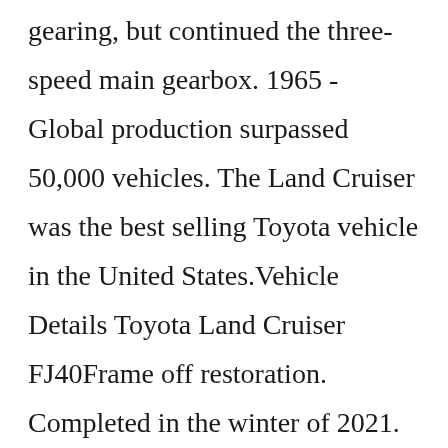gearing, but continued the three-speed main gearbox. 1965 - Global production surpassed 50,000 vehicles. The Land Cruiser was the best selling Toyota vehicle in the United States.Vehicle Details Toyota Land Cruiser FJ40Frame off restoration. Completed in the winter of 2021. ... 1977 Toyota Land Cruiser Fj40. Car photos: Car details: ... Original Toyota Factory power steering. Original locking hubs. Toyota FJ40 Land Cruiser paint code - Coronado